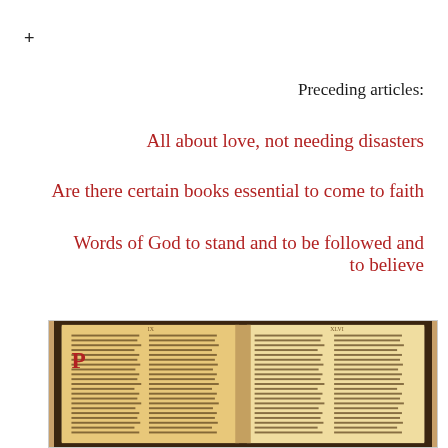+
Preceding articles:
All about love, not needing disasters
Are there certain books essential to come to faith
Words of God to stand and to be followed and to believe
[Figure (photo): Open ancient manuscript or Bible with two columns of handwritten text, illuminated with a decorative red initial letter, spread across two pages]